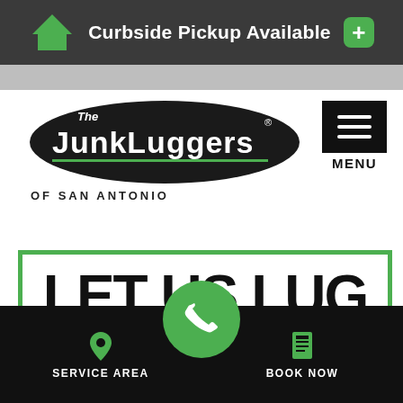Curbside Pickup Available
[Figure (logo): The Junkluggers of San Antonio logo - black oval with white text and house icon]
[Figure (other): Menu button - black box with three white horizontal lines and MENU label]
LET US LUG
SERVICE AREA | BOOK NOW